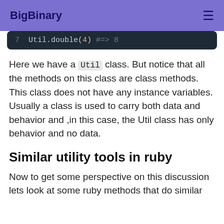BigBinary
[Figure (screenshot): Code block showing: 7  Util.double(4) #=> 8]
Here we have a Util class. But notice that all the methods on this class are class methods. This class does not have any instance variables. Usually a class is used to carry both data and behavior and ,in this case, the Util class has only behavior and no data.
Similar utility tools in ruby
Now to get some perspective on this discussion lets look at some ruby methods that do similar things then we can f...